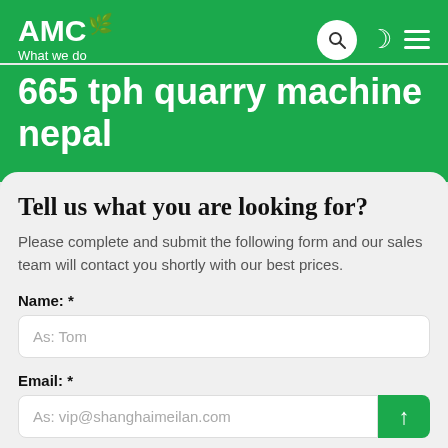AMC What we do
665 tph quarry machine nepal
Tell us what you are looking for?
Please complete and submit the following form and our sales team will contact you shortly with our best prices.
Name: *
As: Tom
Email: *
As: vip@shanghaimeilan.com
Phone: *
With Country Code